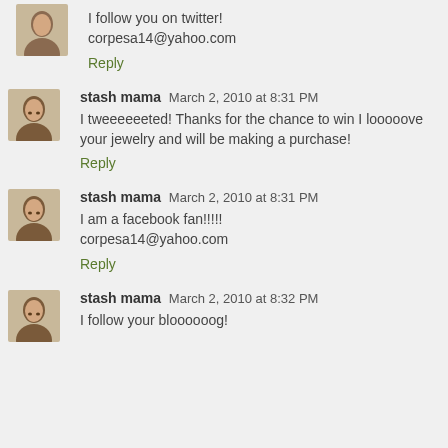I follow you on twitter!
corpesa14@yahoo.com
Reply
stash mama March 2, 2010 at 8:31 PM
I tweeeeeeted! Thanks for the chance to win I looooove your jewelry and will be making a purchase!
Reply
stash mama March 2, 2010 at 8:31 PM
I am a facebook fan!!!!!
corpesa14@yahoo.com
Reply
stash mama March 2, 2010 at 8:32 PM
I follow your bloooooog!